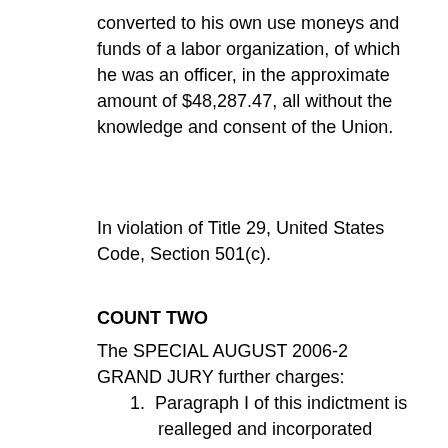converted to his own use moneys and funds of a labor organization, of which he was an officer, in the approximate amount of $48,287.47, all without the knowledge and consent of the Union.
In violation of Title 29, United States Code, Section 501(c).
COUNT TWO
The SPECIAL AUGUST 2006-2 GRAND JURY further charges:
1. Paragraph I of this indictment is realleged and incorporated herein as if fully set out.
2. From on or about July 6, 2002, and continuing to on or about April 17,